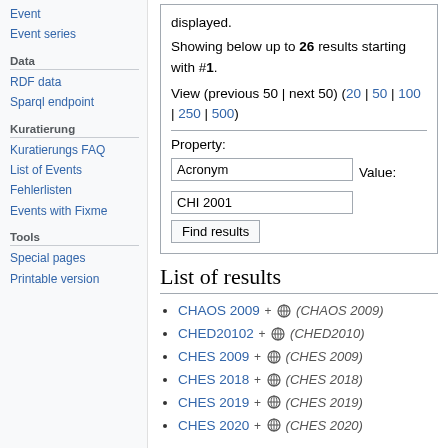Event series
Data
RDF data
Sparql endpoint
Kuratierung
Kuratierungs FAQ
List of Events
Fehlerlisten
Events with Fixme
Tools
Special pages
Printable version
displayed.
Showing below up to 26 results starting with #1.
View (previous 50 | next 50) (20 | 50 | 100 | 250 | 500)
Property: Acronym   Value: CHI 2001
List of results
CHAOS 2009 + (CHAOS 2009)
CHED20102 + (CHED2010)
CHES 2009 + (CHES 2009)
CHES 2018 + (CHES 2018)
CHES 2019 + (CHES 2019)
CHES 2020 + (CHES 2020)